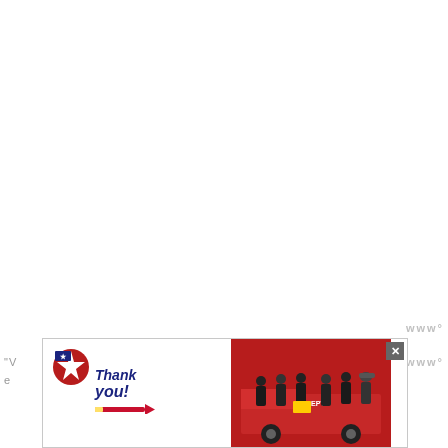[Figure (photo): Advertisement banner for Operation Gratitude featuring a 'Thank You' graphic with a patriotic pencil design on the left, a photo of firefighters in front of a fire truck in the middle, and the Operation Gratitude logo on the right. There is a close button (X) in the top right corner of the ad.]
www
www